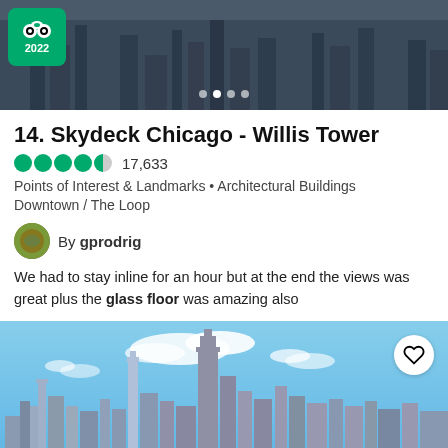[Figure (photo): Aerial view of Chicago cityscape from above, dark toned. TripAdvisor 2022 Travelers' Choice badge in top left. Navigation dots at bottom center.]
14. Skydeck Chicago - Willis Tower
17,633 (rating: 4.5 out of 5 circles)
Points of Interest & Landmarks • Architectural Buildings
Downtown / The Loop
By gprodrig
We had to stay inline for an hour but at the end the views was great plus the glass floor was amazing also
[Figure (photo): Chicago skyline viewed from Lake Michigan, showing tall skyscrapers including Willis Tower against a blue sky with clouds. Water in foreground, heart/save button in top right corner.]